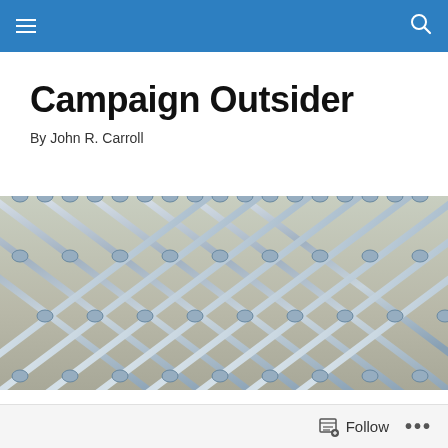Campaign Outsider — navigation bar
Campaign Outsider
By John R. Carroll
[Figure (photo): Close-up photograph of a chain-link metal fence with silver/galvanized wire links against a pale background]
TAGGED WITH EMERY BLAGDON
The Arts Seen in NYC (New! Improved? MoMA Edition)
Follow • •••